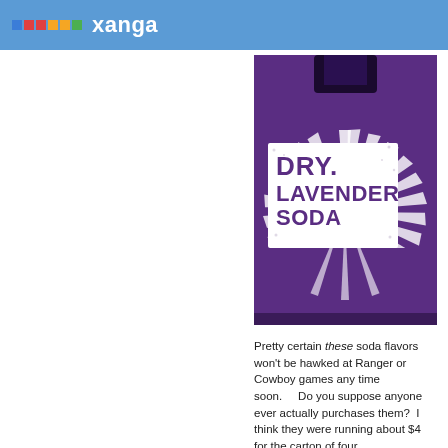xanga
[Figure (photo): Close-up photo of a Dry Lavender Soda bottle label. The label has a purple background with white starburst/sunburst pattern and bold purple text reading 'DRY. LAVENDER SODA' on a white central area, with a signature below.]
Pretty certain these soda flavors won't be hawked at Ranger or Cowboy games any time soon.     Do you suppose anyone ever actually purchases them?  I think they were running about $4 for the carton of four.